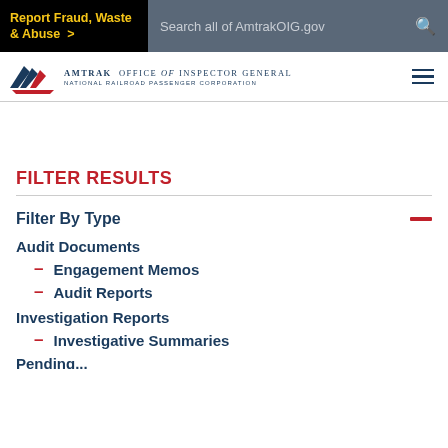Report Fraud, Waste & Abuse >
Search all of AmtrakOIG.gov
[Figure (logo): Amtrak Office of Inspector General logo with train icon and text 'OFFICE OF INSPECTOR GENERAL NATIONAL RAILROAD PASSENGER CORPORATION']
FILTER RESULTS
Filter By Type
Audit Documents
Engagement Memos
Audit Reports
Investigation Reports
Investigative Summaries
Pending...